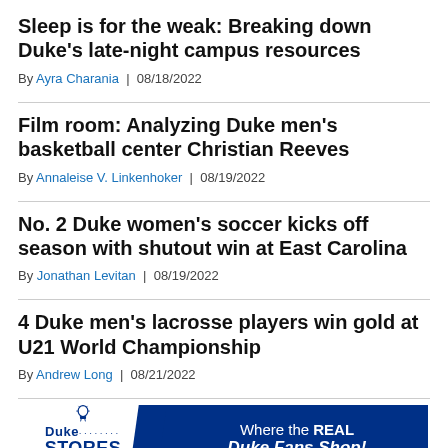Sleep is for the weak: Breaking down Duke's late-night campus resources
By Ayra Charania | 08/18/2022
Film room: Analyzing Duke men's basketball center Christian Reeves
By Annaleise V. Linkenhoker | 08/19/2022
No. 2 Duke women's soccer kicks off season with shutout win at East Carolina
By Jonathan Levitan | 08/19/2022
4 Duke men's lacrosse players win gold at U21 World Championship
By Andrew Long | 08/21/2022
[Figure (illustration): Duke Stores advertisement banner: white left panel with Duke Stores logo and icon, dark blue right panel with text 'Where the REAL Duke Fans Shop!']
'How I … ct on